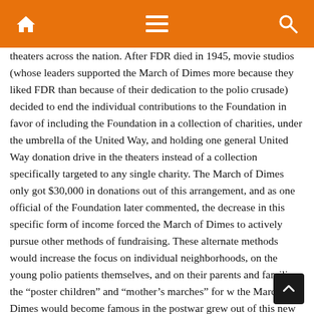Navigation bar with home, menu, and search icons
theaters across the nation. After FDR died in 1945, movie studios (whose leaders supported the March of Dimes more because they liked FDR than because of their dedication to the polio crusade) decided to end the individual contributions to the Foundation in favor of including the Foundation in a collection of charities, under the umbrella of the United Way, and holding one general United Way donation drive in the theaters instead of a collection specifically targeted to any single charity. The March of Dimes only got $30,000 in donations out of this arrangement, and as one official of the Foundation later commented, the decrease in this specific form of income forced the March of Dimes to actively pursue other methods of fundraising. These alternate methods would increase the focus on individual neighborhoods, on the young polio patients themselves, and on their parents and families; the “poster children” and “mother’s marches” for w the March of Dimes would become famous in the postwar grew out of this new approach. As David Oshinsky later